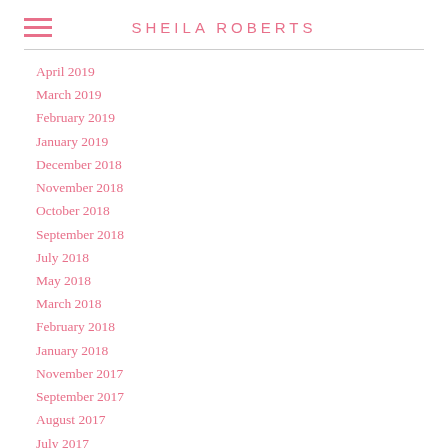SHEILA ROBERTS
April 2019
March 2019
February 2019
January 2019
December 2018
November 2018
October 2018
September 2018
July 2018
May 2018
March 2018
February 2018
January 2018
November 2017
September 2017
August 2017
July 2017